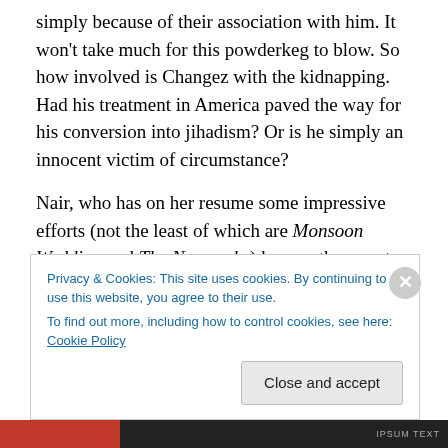simply because of their association with him. It won't take much for this powderkeg to blow. So how involved is Changez with the kidnapping. Had his treatment in America paved the way for his conversion into jihadism? Or is he simply an innocent victim of circumstance?
Nair, who has on her resume some impressive efforts (not the least of which are Monsoon Wedding and The Namesake) has another one to add to that list. Based on a novel by Mohsin Hamid that is largely a monologue by Changez, she utilizes some brilliant cinematography and a
Privacy & Cookies: This site uses cookies. By continuing to use this website, you agree to their use.
To find out more, including how to control cookies, see here: Cookie Policy
Close and accept